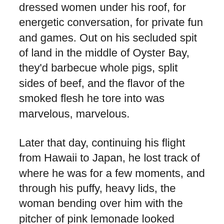dressed women under his roof, for energetic conversation, for private fun and games. Out on his secluded spit of land in the middle of Oyster Bay, they'd barbecue whole pigs, split sides of beef, and the flavor of the smoked flesh he tore into was marvelous, marvelous.
Later that day, continuing his flight from Hawaii to Japan, he lost track of where he was for a few moments, and through his puffy, heavy lids, the woman bending over him with the pitcher of pink lemonade looked exactly like the love of his life, dead ten years that month of cancer. Dear, sweet, Ola, he almost said, but caught himself. Though his temples sweated copiously, he refused to soil his handkerchief, letting his shirt become wet, stiff with his salt.
His live radio broadcast, next morning, from Hiroshima's